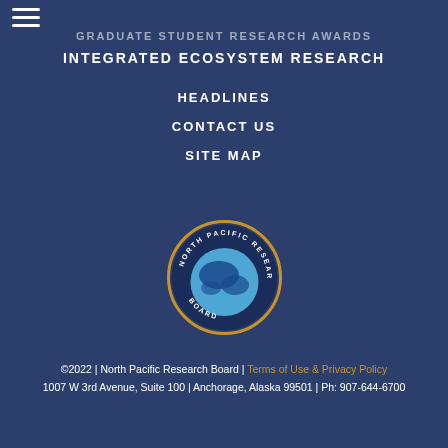GRADUATE STUDENT RESEARCH AWARDS
INTEGRATED ECOSYSTEM RESEARCH
HEADLINES
CONTACT US
SITE MAP
[Figure (logo): North Pacific Research Board circular logo with globe showing Alaska/North Pacific region, blue and gold colors]
©2022 | North Pacific Research Board | Terms of Use & Privacy Policy
1007 W 3rd Avenue, Suite 100 | Anchorage, Alaska 99501 | Ph: 907-644-6700